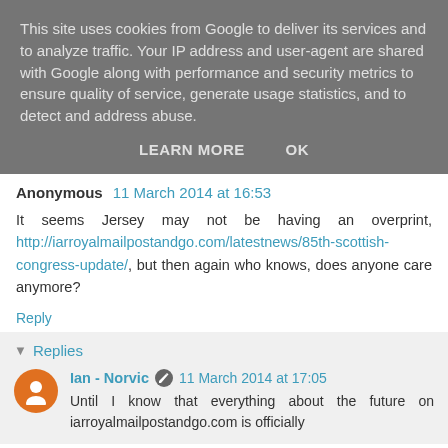This site uses cookies from Google to deliver its services and to analyze traffic. Your IP address and user-agent are shared with Google along with performance and security metrics to ensure quality of service, generate usage statistics, and to detect and address abuse.
LEARN MORE   OK
Anonymous 11 March 2014 at 16:53
It seems Jersey may not be having an overprint, http://iarroyalmailpostandgo.com/latestnews/85th-scottish-congress-update/, but then again who knows, does anyone care anymore?
Reply
Replies
Ian - Norvic 11 March 2014 at 17:05
Until I know that everything about the future on iarroyalmailpostandgo.com is officially